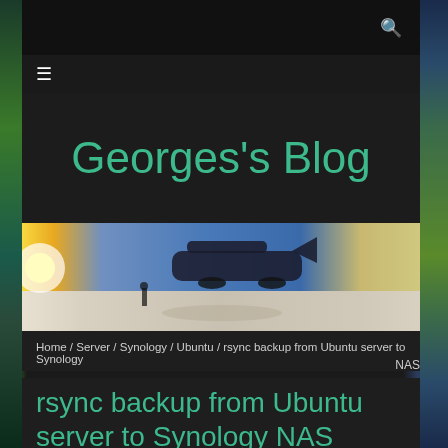Georges's Blog
[Figure (photo): Panoramic photo of an airplane on a snowy tarmac at dusk/dawn with bright sunlight on the left and blue sky]
Home / Server / Synology / Ubuntu / rsync backup from Ubuntu server to Synology
NAS
rsync backup from Ubuntu server to Synology NAS